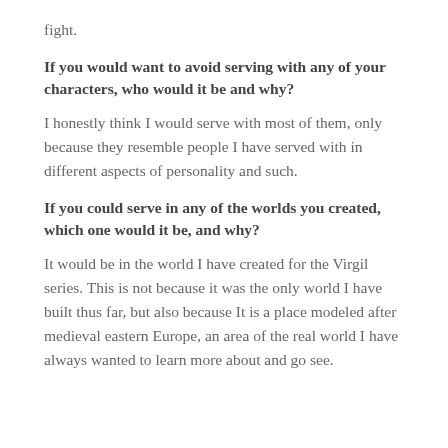fight.
If you would want to avoid serving with any of your characters, who would it be and why?
I honestly think I would serve with most of them, only because they resemble people I have served with in different aspects of personality and such.
If you could serve in any of the worlds you created, which one would it be, and why?
It would be in the world I have created for the Virgil series. This is not because it was the only world I have built thus far, but also because It is a place modeled after medieval eastern Europe, an area of the real world I have always wanted to learn more about and go see.